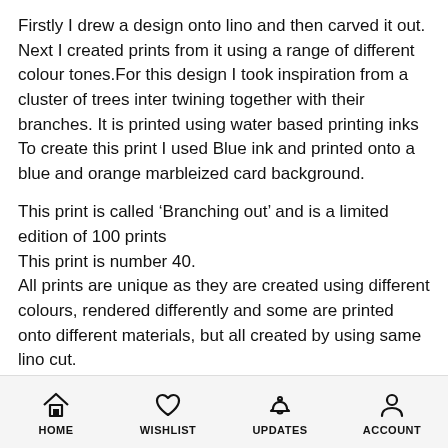Firstly I drew a design onto lino and then carved it out. Next I created prints from it using a range of different colour tones.For this design I took inspiration from a cluster of trees inter twining together with their branches. It is printed using water based printing inks
To create this print I used Blue ink and printed onto a blue and orange marbleized card background.
This print is called ‘Branching out’ and is a limited edition of 100 prints
This print is number 40.
All prints are unique as they are created using different colours, rendered differently and some are printed onto different materials, but all created by using same lino cut.
Each print is numbered and signed
[Figure (other): Bottom navigation bar with four icons: HOME (house icon), WISHLIST (heart icon), UPDATES (bell icon), ACCOUNT (person icon)]